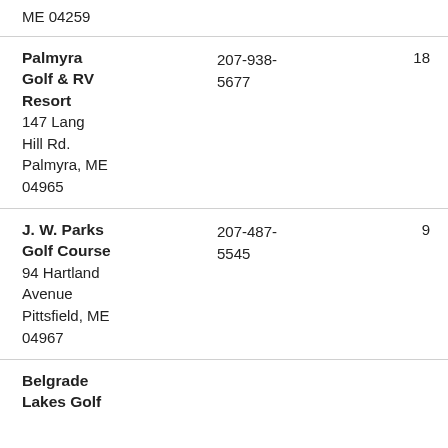ME 04259
| Name/Address | Phone | Holes |
| --- | --- | --- |
| Palmyra Golf & RV Resort
147 Lang Hill Rd.
Palmyra, ME 04965 | 207-938-5677 | 18 |
| J. W. Parks Golf Course
94 Hartland Avenue
Pittsfield, ME 04967 | 207-487-5545 | 9 |
| Belgrade Lakes Golf |  |  |